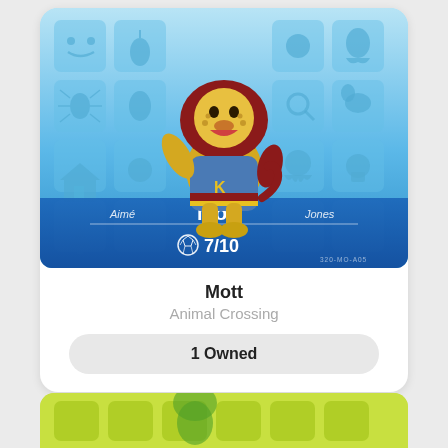[Figure (illustration): Animal Crossing amiibo card for character Mott — a lion villager wearing a blue varsity jacket. The card has a light blue background with faint Animal Crossing icon grid pattern. Bottom bar shows name 'Mott' flanked by 'Aimé' and 'Jones' in italic, a dividing line, a soccer ball icon and rating '7/10', and serial number '320-MO-A05'.]
Mott
Animal Crossing
1 Owned
[Figure (illustration): Partially visible yellow-green amiibo card at the bottom of the page, showing only the top portion.]